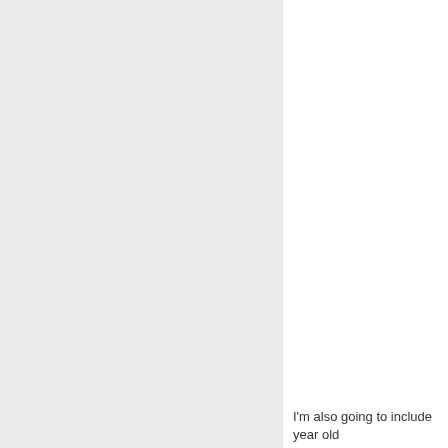[Figure (other): Left panel with light gray background, no visible content.]
I'm also going to include year old